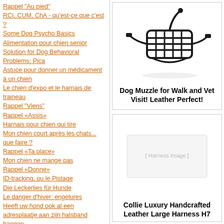Rappel "Au pied"
RCI, CUM, ChA - qu'est-ce que c'est ?
Some Dog Psycho Basics
Alimentation pour chien senior
Solution for Dog Behavioral Problems: Pica
Astuce pour donner un médicament à un chien
Le chien d'expo et le harnais de traineau
Rappel "Viens"
Rappel «Assis»
Harnais pour chien qui tire
Mon chien court après les chats... que faire ?
Rappel «Ta place»
Mon chien ne mange pas
Rappel «Donne»
ID-tracking, ou le Pistage
Die Leckerlies für Hunde
Le danger d'hiver: engelures
Heeft uw hond ook al een adresplaatje aan zijn halsband hangen
WAALS-BRABANT/BRABANT WALLON Hondenscholen
Honden uitrusting
Welkom op onze web winkel fordogtrainers.eu!
Wie einen Gebrauchshund zu wählen?
[Figure (photo): Black dog muzzle for walk and vet visit, leather, shown on white background]
Dog Muzzle for Walk and Vet Visit! Leather Perfect!
[Figure (photo): Collie luxury handcrafted leather large harness H7]
Collie Luxury Handcrafted Leather Large Harness H7